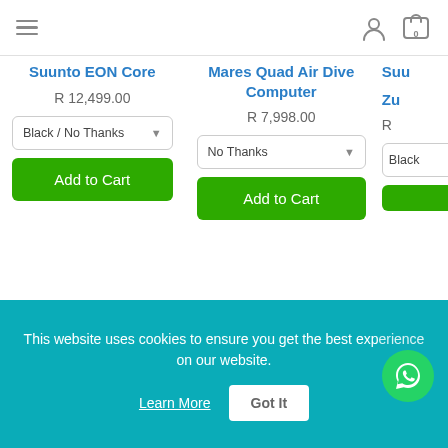Navigation header with hamburger menu, user icon, and cart (0)
Suunto EON Core
R 12,499.00
Black / No Thanks
Add to Cart
Mares Quad Air Dive Computer
R 7,998.00
No Thanks
Add to Cart
Suu... Zu... (partially visible)
Black (partially visible)
This website uses cookies to ensure you get the best experience on our website.
Learn More
Got It